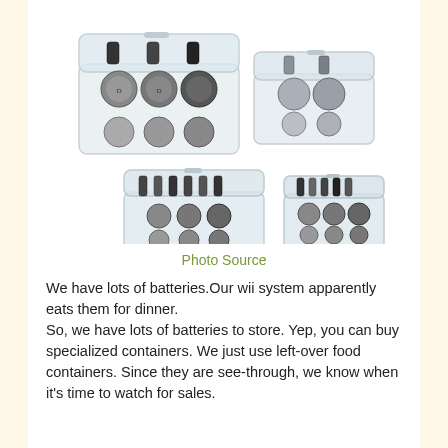[Figure (photo): Four clear plastic battery storage containers of different sizes, each holding various AA, C, and D batteries. Two larger containers on top row, two smaller containers on bottom row.]
Photo Source
We have lots of batteries.Our wii system apparently eats them for dinner.
So, we have lots of batteries to store. Yep, you can buy specialized containers. We just use left-over food containers. Since they are see-through, we know when it's time to watch for sales.